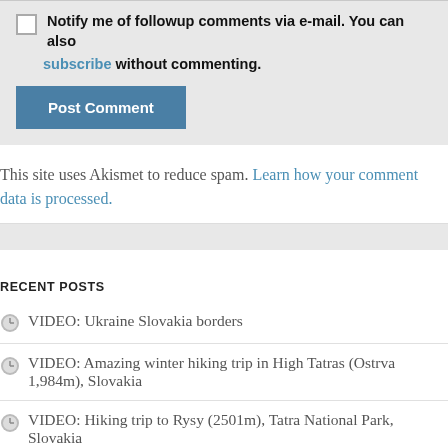Notify me of followup comments via e-mail. You can also subscribe without commenting.
Post Comment
This site uses Akismet to reduce spam. Learn how your comment data is processed.
RECENT POSTS
VIDEO: Ukraine Slovakia borders
VIDEO: Amazing winter hiking trip in High Tatras (Ostrva 1,984m), Slovakia
VIDEO: Hiking trip to Rysy (2501m), Tatra National Park, Slovakia